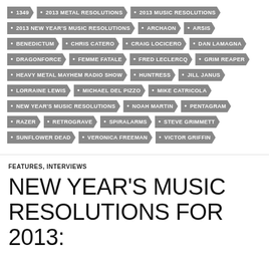1349
2013 METAL RESOLUTIONS
2013 MUSIC RESOLUTIONS
2013 NEW YEAR'S MUSIC RESOLUTIONS
ARCHAON
ARSIS
BENEDICTUM
CHRIS CATERO
CRAIG LOCICERO
DAN LAMAGNA
DRAGONFORCE
FEMME FATALE
FRED LECLERCQ
GRIM REAPER
HEAVY METAL MAYHEM RADIO SHOW
HUNTRESS
JILL JANUS
LORRAINE LEWIS
MICHAEL DEL PIZZO
MIKE CATRICOLA
NEW YEAR'S MUSIC RESOLUTIONS
NOAH MARTIN
PENTAGRAM
RAZER
RETROGRAVE
SPIRALARMS
STEVE GRIMMETT
SUNFLOWER DEAD
VERONICA FREEMAN
VICTOR GRIFFIN
FEATURES, INTERVIEWS
NEW YEAR'S MUSIC RESOLUTIONS FOR 2013: